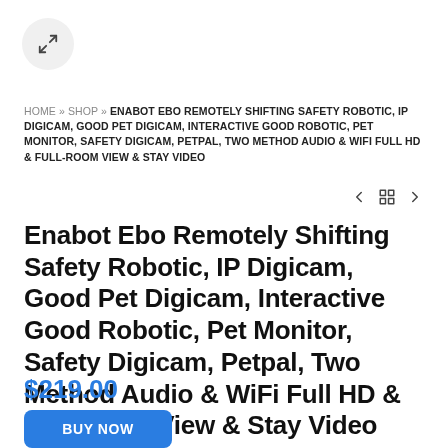[Figure (other): Expand/fullscreen icon button (arrows pointing outward) in a circular grey button]
HOME » SHOP » ENABOT EBO REMOTELY SHIFTING SAFETY ROBOTIC, IP DIGICAM, GOOD PET DIGICAM, INTERACTIVE GOOD ROBOTIC, PET MONITOR, SAFETY DIGICAM, PETPAL, TWO METHOD AUDIO & WIFI FULL HD & FULL-ROOM VIEW & STAY VIDEO
[Figure (other): Navigation icons: left arrow, grid/menu icon, right arrow]
Enabot Ebo Remotely Shifting Safety Robotic, IP Digicam, Good Pet Digicam, Interactive Good Robotic, Pet Monitor, Safety Digicam, Petpal, Two Method Audio & WiFi Full HD & Full-Room View & Stay Video
$219.00
BUY NOW